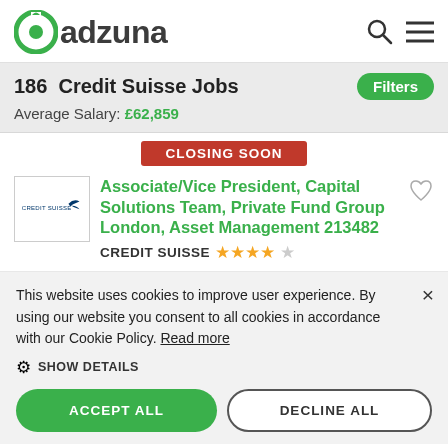adzuna
186 Credit Suisse Jobs
Average Salary: £62,859
CLOSING SOON
Associate/Vice President, Capital Solutions Team, Private Fund Group London, Asset Management 213482 CREDIT SUISSE ★★★★☆
This website uses cookies to improve user experience. By using our website you consent to all cookies in accordance with our Cookie Policy. Read more
SHOW DETAILS
ACCEPT ALL
DECLINE ALL